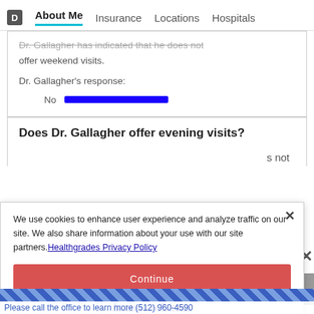About Me | Insurance | Locations | Hospitals
Dr. Gallagher has indicated that he does not offer weekend visits.
Dr. Gallagher's response:
No [blue bar indicator]
Does Dr. Gallagher offer evening visits?
s not
We use cookies to enhance user experience and analyze traffic on our site. We also share information about your use with our site partners. Healthgrades Privacy Policy
Continue
Access my Privacy Preferences
rs Today
Please call the office to learn more (512) 960-4590